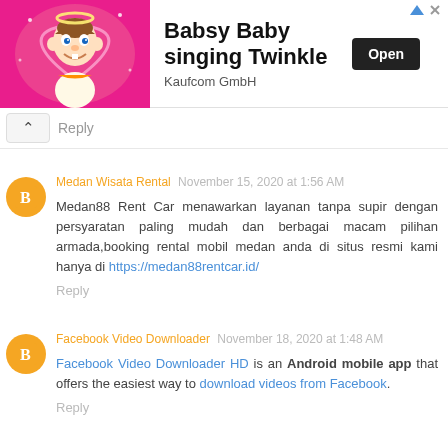[Figure (illustration): Advertisement banner for Babsy Baby singing Twinkle app by Kaufcom GmbH, showing animated baby character on pink background with Open button]
Reply
Medan Wisata Rental  November 15, 2020 at 1:56 AM
Medan88 Rent Car menawarkan layanan tanpa supir dengan persyaratan paling mudah dan berbagai macam pilihan armada,booking rental mobil medan anda di situs resmi kami hanya di https://medan88rentcar.id/
Reply
Facebook Video Downloader  November 18, 2020 at 1:48 AM
Facebook Video Downloader HD is an Android mobile app that offers the easiest way to download videos from Facebook.
Reply